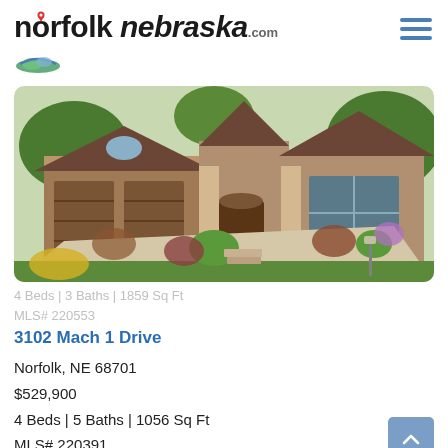norfolknebraska.com
[Figure (photo): Front exterior of a large brick house with brown roof, two-car garage, arched windows, manicured landscaping with flowering shrubs and green lawn, curved concrete driveway on a sunny day.]
4 Beds | 3 Baths | 1859 Sq Ft
MLS# 220553
3102 Mach 1 Drive
Norfolk, NE 68701
$529,900
4 Beds | 5 Baths | 1056 Sq Ft
MLS# 220391